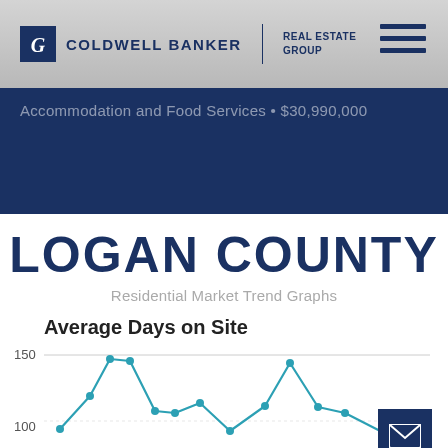Coldwell Banker Real Estate Group
Accommodation and Food Services • $30,990,000
LOGAN COUNTY
Residential Market Trend Graphs
Average Days on Site
[Figure (line-chart): Line chart showing Average Days on Site for Logan County residential market. Y-axis shows values with 150 marked. Two peaks visible in the teal/cyan line, one around 130 and another smaller peak. Chart is partially cut off at bottom.]